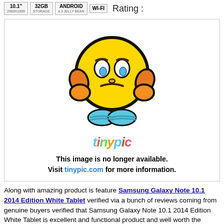[Figure (infographic): Row of spec badges showing 10.1", 32GB Storage, Android 4.3 Jelly Bean, Wi-Fi, followed by 'Rating :' text]
[Figure (illustration): Tinypic placeholder image showing a sad emoticon with hands on head, tinypic logo, and message: 'This image is no longer available. Visit tinypic.com for more information.']
Along with amazing product is feature Samsung Galaxy Note 10.1 2014 Edition White Tablet verified via a bunch of reviews coming from genuine buyers verified that Samsung Galaxy Note 10.1 2014 Edition White Tablet is excellent and functional product and well worth the money that they spent. If you have any